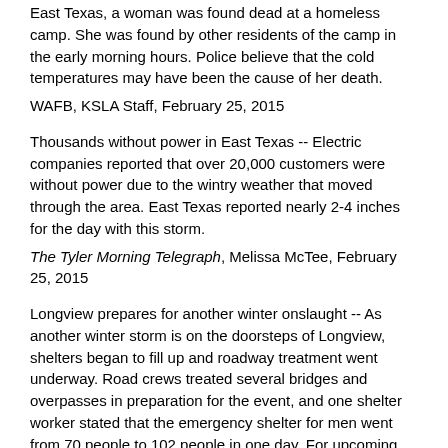East Texas, a woman was found dead at a homeless camp. She was found by other residents of the camp in the early morning hours. Police believe that the cold temperatures may have been the cause of her death.
WAFB, KSLA Staff, February 25, 2015
Thousands without power in East Texas -- Electric companies reported that over 20,000 customers were without power due to the wintry weather that moved through the area. East Texas reported nearly 2-4 inches for the day with this storm.
The Tyler Morning Telegraph, Melissa McTee, February 25, 2015
Longview prepares for another winter onslaught -- As another winter storm is on the doorsteps of Longview, shelters began to fill up and roadway treatment went underway. Road crews treated several bridges and overpasses in preparation for the event, and one shelter worker stated that the emergency shelter for men went from 70 people to 102 people in one day. For upcoming events like this, the shelter activates a life-threatening policy so that they can take in more people that normally would not be allowed.
The Longview News-Journal, Richard Yeakley, February 25, 2015